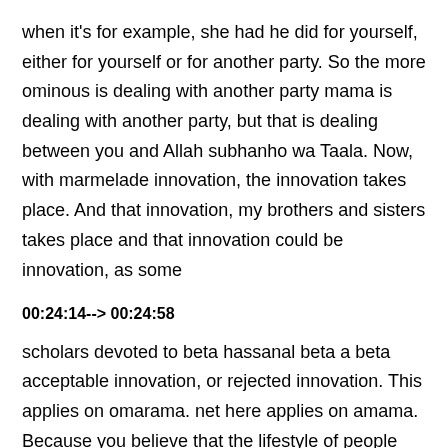when it's for example, she had he did for yourself, either for yourself or for another party. So the more ominous is dealing with another party mama is dealing with another party, but that is dealing between you and Allah subhanho wa Taala. Now, with marmelade innovation, the innovation takes place. And that innovation, my brothers and sisters takes place and that innovation could be innovation, as some
00:24:14--> 00:24:58
scholars devoted to beta hassanal beta a beta acceptable innovation, or rejected innovation. This applies on omarama. net here applies on amama. Because you believe that the lifestyle of people changes, ie the lifestyle of people changes and dealing with others also changes. So sometimes there's something that's got to come up that something that something's got to be innovated something